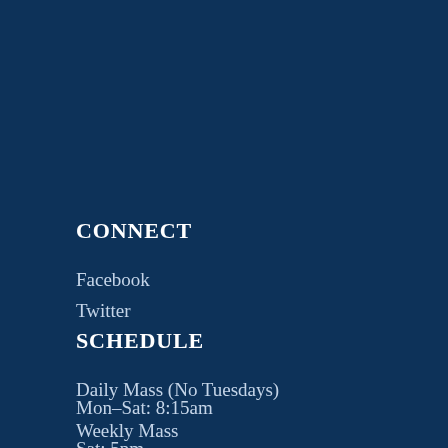CONNECT
Facebook
Twitter
SCHEDULE
Daily Mass (No Tuesdays)
Mon–Sat: 8:15am
Weekly Mass
Sat: 5pm